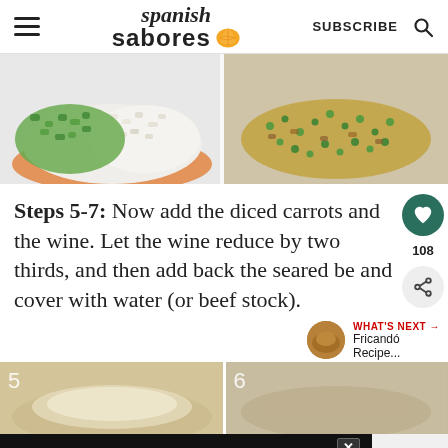spanish sabores | SUBSCRIBE
[Figure (photo): Two cooking pans side by side: left shows diced green peppers and white onions in a blue/orange pan, right shows the vegetables cooked and browned with green peas]
Steps 5-7: Now add the diced carrots and the wine. Let the wine reduce by two thirds, and then add back the seared be and cover with water (or beef stock).
[Figure (photo): Two step photos at bottom: step 5 shows a light-colored stew/broth in a pan, step 6 shows meat in a similar pan]
WHAT'S NEXT → Fricandó Recipe...
[Figure (other): Ad banner: DON'T TEXT AND [car emoji] with NHTSA logo and ad badge]